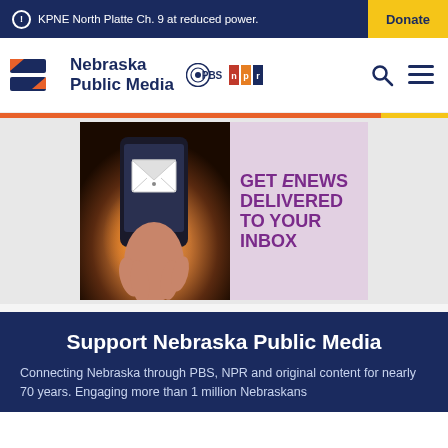KPNE North Platte Ch. 9 at reduced power. Donate
[Figure (logo): Nebraska Public Media logo with PBS and NPR logos, search and menu icons]
[Figure (infographic): GET eNEWS DELIVERED TO YOUR INBOX banner with hand holding phone showing envelope]
Support Nebraska Public Media
Connecting Nebraska through PBS, NPR and original content for nearly 70 years. Engaging more than 1 million Nebraskans